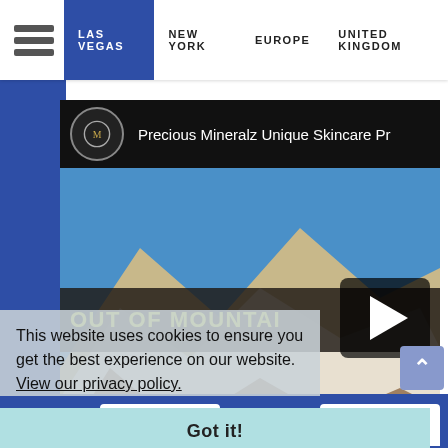LAS VEGAS  NEW YORK  EUROPE  UNITED KINGDOM
[Figure (screenshot): YouTube video embed showing 'Precious Mineralz Unique Skincare Pr...' with mountain landscape thumbnail and 'OUT OF MOUNTAIN' text overlay with play button. 'Watch on YouTube' bar at bottom.]
This website uses cookies to ensure you get the best experience on our website. View our privacy policy.
Got it!